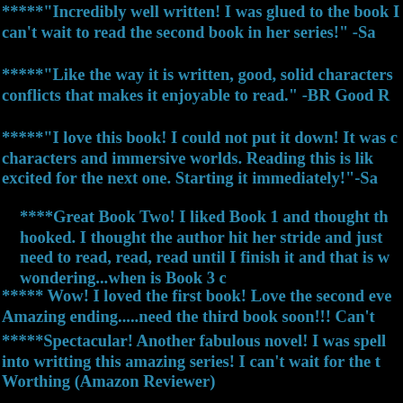*****"Incredibly well written! I was glued to the book I can't wait to read the second book in her series!" -Sa
*****"Like the way it is written, good, solid characters conflicts that makes it enjoyable to read." -BR Good R
*****"I love this book! I could not put it down! It was c characters and immersive worlds. Reading this is lik excited for the next one. Starting it immediately!"-Sa
****Great Book Two! I liked Book 1 and thought th hooked. I thought the author hit her stride and just need to read, read, read until I finish it and that is w wondering...when is Book 3 c
***** Wow! I loved the first book! Love the second eve Amazing ending.....need the third book soon!!! Can't
*****Spectacular! Another fabulous novel! I was spell into writting this amazing series! I can't wait for the t Worthing (Amazon Reviewer)
*****"This has become my preferred 'going to hide i continuation of the story that began in House of New make sense of (and peace with) her past and sh